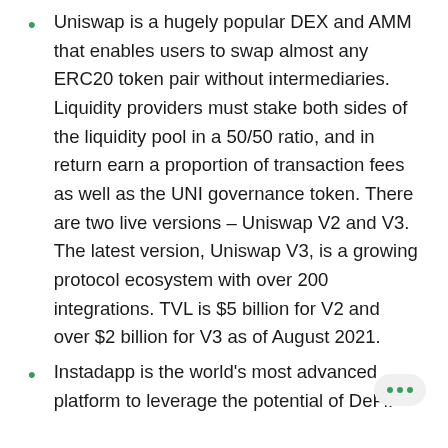Uniswap is a hugely popular DEX and AMM that enables users to swap almost any ERC20 token pair without intermediaries. Liquidity providers must stake both sides of the liquidity pool in a 50/50 ratio, and in return earn a proportion of transaction fees as well as the UNI governance token. There are two live versions – Uniswap V2 and V3. The latest version, Uniswap V3, is a growing protocol ecosystem with over 200 integrations. TVL is $5 billion for V2 and over $2 billion for V3 as of August 2021.
Instadapp is the world's most advanced platform to leverage the potential of DeFi.